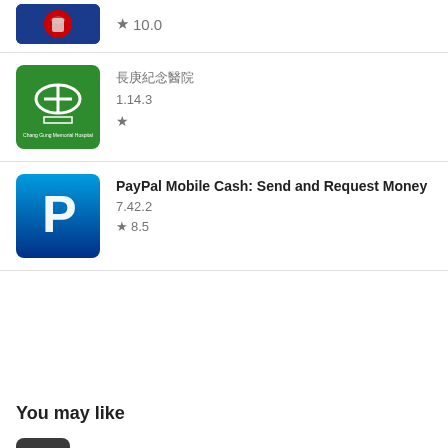★ 10.0
長庚紀念醫院 1.14.3 ★
PayPal Mobile Cash: Send and Request Money 7.42.2 ★ 8.5
You may like
Implosion - Never Lose Hope 1.5.2